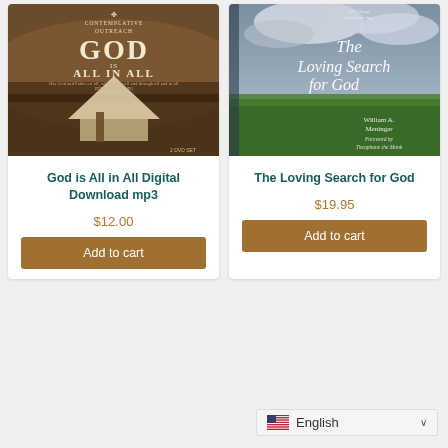[Figure (photo): Book/DVD cover: God is All in All Digital Download - sepia toned cover with a yurt/tent building, Contemplative Outreach logo, text 'GOD IS ALL IN ALL', '2 DVD SET']
God is All in All Digital Download mp3
$12.00
Add to cart
[Figure (photo): Book cover: The Loving Search for God by William A. Meninger, Foreword by Theophane the Monk - green and cloudy sky background with italic title text]
The Loving Search for God
$19.95
Add to cart
English